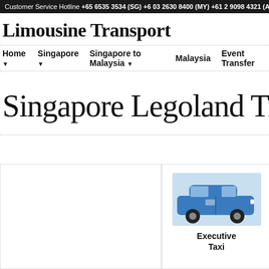Customer Service Hotline +65 6535 3534 (SG) +6 03 2630 8400 (MY) +61 2 9098 4321 (AU) +852 3051 9353
Limousine Transport
Home ▼   Singapore ▼   Singapore to Malaysia ▼   Malaysia   Event Transfer
Singapore Legoland Transf
[Figure (photo): Blue executive taxi car (MPV style)]
Executive Taxi
[Figure (photo): White sedan car (partially visible)]